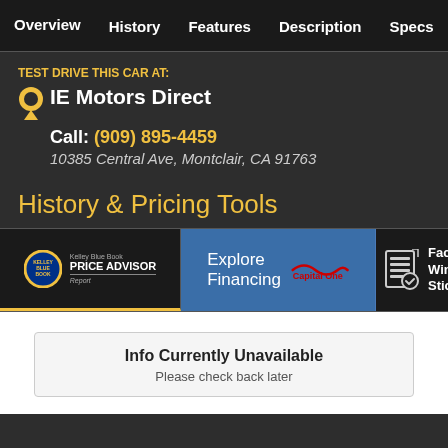Overview  History  Features  Description  Specs  Si…
TEST DRIVE THIS CAR AT:
IE Motors Direct
Call: (909) 895-4459
10385 Central Ave, Montclair, CA 91763
History & Pricing Tools
[Figure (screenshot): Kelley Blue Book Price Advisor Report badge]
[Figure (screenshot): Explore Financing with Capital One logo]
[Figure (screenshot): Factory Window Sticker icon and text]
Info Currently Unavailable
Please check back later